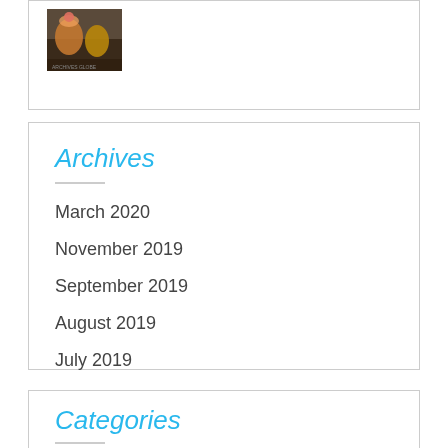[Figure (photo): Photo of a cocktail drink with a pink/peach garnish and amber-colored beverages in the background]
Archives
March 2020
November 2019
September 2019
August 2019
July 2019
Categories